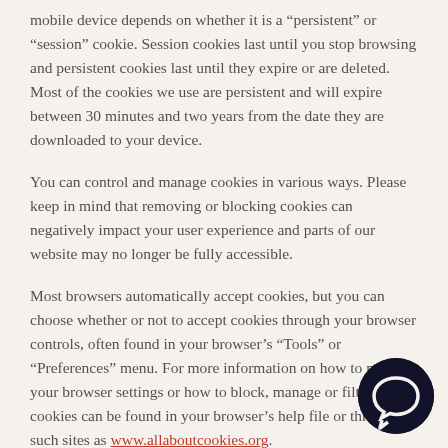mobile device depends on whether it is a “persistent” or “session” cookie. Session cookies last until you stop browsing and persistent cookies last until they expire or are deleted. Most of the cookies we use are persistent and will expire between 30 minutes and two years from the date they are downloaded to your device.
You can control and manage cookies in various ways. Please keep in mind that removing or blocking cookies can negatively impact your user experience and parts of our website may no longer be fully accessible.
Most browsers automatically accept cookies, but you can choose whether or not to accept cookies through your browser controls, often found in your browser’s “Tools” or “Preferences” menu. For more information on how to modify your browser settings or how to block, manage or filter cookies can be found in your browser’s help file or through such sites as www.allaboutcookies.org.
[Figure (other): Chat bubble icon, dark navy/black circle with speech bubble cutout, positioned in bottom-right corner]